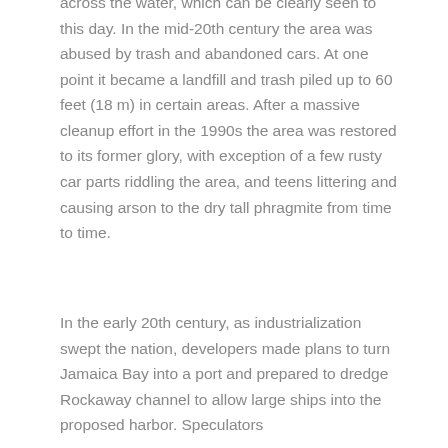level, leaving only the few that wood pilings across the water, which can be clearly seen to this day. In the mid-20th century the area was abused by trash and abandoned cars. At one point it became a landfill and trash piled up to 60 feet (18 m) in certain areas. After a massive cleanup effort in the 1990s the area was restored to its former glory, with exception of a few rusty car parts riddling the area, and teens littering and causing arson to the dry tall phragmite from time to time.
In the early 20th century, as industrialization swept the nation, developers made plans to turn Jamaica Bay into a port and prepared to dredge Rockaway channel to allow large ships into the proposed harbor. Speculators